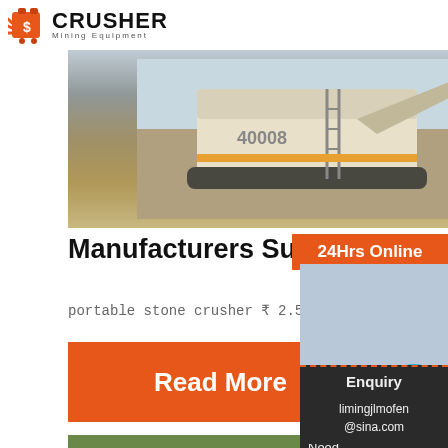[Figure (logo): Crusher Mining Equipment logo with red shopping bag icon and bold CRUSHER text]
[Figure (photo): Large mining equipment / excavator at a mining site]
Manufacturers Suppliers in I...
portable stone crusher ₹ 2.5 Lakh Get Latest Pr...
Read More
[Figure (photo): Stone crusher construction site photo]
Stone
Crush...
Expor...
[Figure (photo): Customer service representative with headset - 24Hrs Online sidebar]
24Hrs Online
Need ... & sugg...
Chat Now
Enquiry
limingjlmofen@sina.com